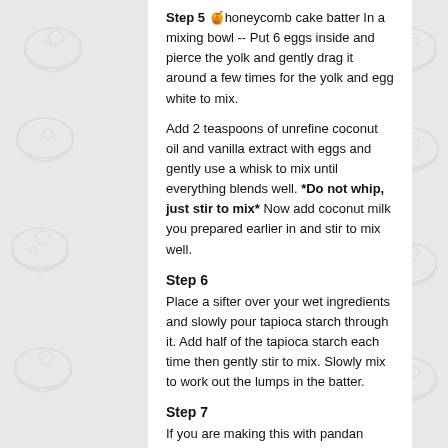Step 5 [honeycomb cake batter emoji] honeycomb cake batter In a mixing bowl -- Put 6 eggs inside and pierce the yolk and gently drag it around a few times for the yolk and egg white to mix.
Add 2 teaspoons of unrefine coconut oil and vanilla extract with eggs and gently use a whisk to mix until everything blends well. *Do not whip, just stir to mix* Now add coconut milk you prepared earlier in and stir to mix well.
Step 6
Place a sifter over your wet ingredients and slowly pour tapioca starch through it. Add half of the tapioca starch each time then gently stir to mix. Slowly mix to work out the lumps in the batter.
Step 7
If you are making this with pandan extract, now you can add the extract in. Otherwise, skip this step.